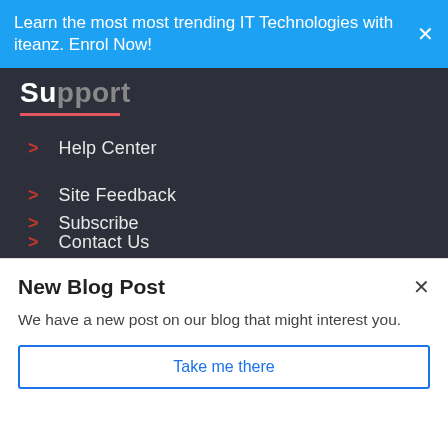Learn the most most trending IT Technologies with iteanz. Enrol Now!
Support
Help Center
Site Feedback
Contact Us
Knowledge base
Course Suggestion
Discuss
Subscribe
New Blog Post
We have a new post on our blog that might interest you.
Take me there